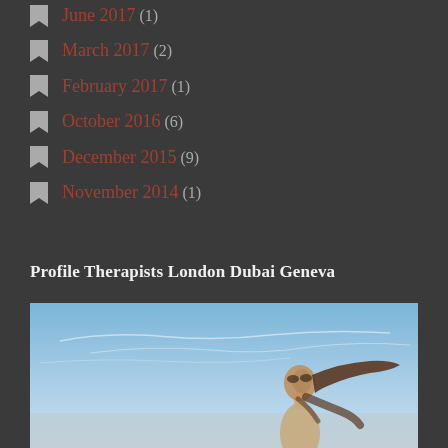June 2017 (1)
March 2017 (2)
February 2017 (1)
October 2016 (6)
December 2015 (9)
November 2014 (1)
Profile Therapists London Dubai Geneva
[Figure (photo): Woman with long hair looking up at a blue sky with wispy clouds]